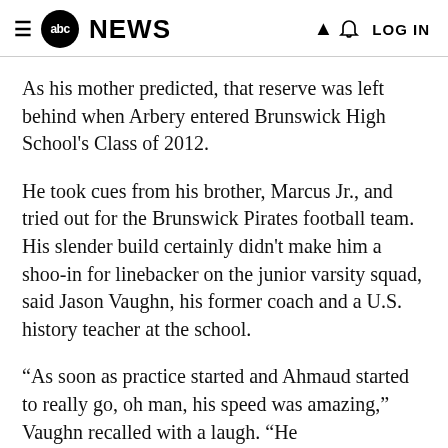abc NEWS  LOG IN
As his mother predicted, that reserve was left behind when Arbery entered Brunswick High School's Class of 2012.
He took cues from his brother, Marcus Jr., and tried out for the Brunswick Pirates football team. His slender build certainly didn't make him a shoo-in for linebacker on the junior varsity squad, said Jason Vaughn, his former coach and a U.S. history teacher at the school.
“As soon as practice started and Ahmaud started to really go, oh man, his speed was amazing,” Vaughn recalled with a laugh. “He